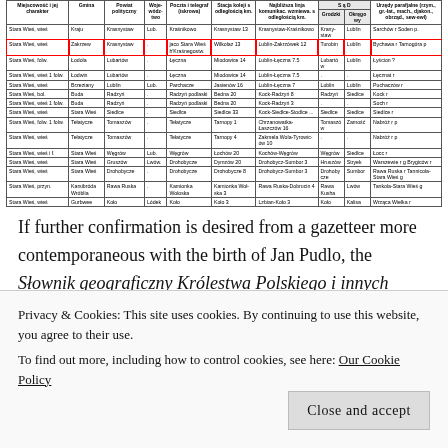| Miejscowość i jej charakter | Gmina | Powiat polityczny | Województwo | Poczta i telegraf (iskrowa) | Stacja koleji s odległością km. | Najbliższa linja komunikac. wzmiewa. s odległością km. | S ą D Grodzki | S ą D Okręgowy | Urzędy parafjalne (rzym., gr.-lat., mach., djakon., obrząd., sew-ewl) |
| --- | --- | --- | --- | --- | --- | --- | --- | --- | --- |
| Stara Wieś, wieś | Kraju | Krasnystaw | Lub. | Kraśnikowo | Krasnystaw 13 | Krasnystaw-Kraśnikowo | Krany-... | Lublin | Sarchów r ...Soden p. |
| Stara Wieś, wieś | Zakrzew | Krasnystaw | . | jaco Stara Wieś h'Krasnegostwość | Wilkolaz 13 | Lublin-Zakrzówek 12 | Turobin | Lublin | Bychawa r Tarnogóra p |
| Stara Wieś, folw. | Ładola | Lubartów | . | Łęczna | Miodowice 14 | Lublin-Łęczna 7.5 | Lubartów | Lublin | Łyścion ? |
| Stara Wieś, wieś 1 folw. | Łodwin | Lubartów | . | Łęczna | Miodowice 14 | Lublin-Łęczna 7.5 | . | . | Łęcznat r |
| Stara Wieś, wieś | Brzeziany | Lublin | Lub. | Parchacze | Jasienów 16 | Lublin-Łęczna 7 | Lublin | Lublin | Puchaczów r |
| Stara Wieś, bol. | Buda | Radzyń | . | Radzyń podlaski | Hedin 20 | Kock-Radzyń 8 | Radzyń | Siedlce | Kock r |
| Stara Wieś, wieś 1 folw. | Buda | Radzyń | . | Radzyń podlaski | Bedna 20 | Kock-Radzyń 3 | . | . | Soch r |
| Stara Wieś, wieś | Stara Wieś | Siedlce | . | Siedlce | Siedlce 33 | Kock-Siedlce ... | Siedlce | Siedlce | Siedlce r |
| Stara Wieś, folw. 1 folw. | Tełatycze | Tomaszów | . | Tełatycze | Tarnopy 1 | Chrzanowatka-Łaszczów 16 | Tomaszów | Zamość | Nabróż r p |
| Stara Wieś, wieś | Tełatycze | Tomaszów | . | Tełatycze | Tarnopy 4 | Zakmela Wola-Tyrowic-ów 10 | . | . | Nabróż r p |
| Stara Wieś, wieś i f. | Stara Wieś | Węgrów | Lub. | Węgrów | Łochów 20 | Kochów-Węgrów | Węgrów | Siedlce | Łocc r |
| Stara Wieś, wieś | Stara Wieś | Gruszów | Lwów | Drohobycze | Dymzów 20 | Drohobycz-Sumbor 3 | Hruszów | Stryek | Warszewie r g |
| Stara Wieś, wieś | Stara Wieś | Drohobycze | . | Drohobycze | Drohobycze 8 | Drohobycz-Sumbor 3 | Drohobycze | Sumbor | Brygiców r Rawa Ruska r Tannicola-Stara Wieś g |
| Stara Wieś, przyn. | Karsibróda Wróblia | Rawa Ruska | . | Kamionka Wołoska | Kamionka Woła-ska 3 | Rawa Ruska-Dobrucin 4 | Rawa Kusha | Lwów | Tankola-Stara Wieś g |
| Stara Wieś, wieś | Gurbwee | Koło | Lódek | Koło | Koło 3 | Lzbian-Koło 3 | Koło | Kalisa | Wrząca Wielka r |
If further confirmation is desired from a gazetteer more contemporaneous with the birth of Jan Pudlo, the Słownik geograficzny Królestwa Polskiego i innych krajów słowiańskich (Geographical Dictionary of the Kingdom of Poland and Other Slavic Countries) can
Privacy & Cookies: This site uses cookies. By continuing to use this website, you agree to their use. To find out more, including how to control cookies, see here: Our Cookie Policy